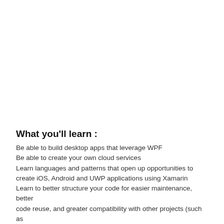What you'll learn :
Be able to build desktop apps that leverage WPF
Be able to create your own cloud services
Learn languages and patterns that open up opportunities to create iOS, Android and UWP applications using Xamarin
Learn to better structure your code for easier maintenance, better code reuse, and greater compatibility with other projects (such as